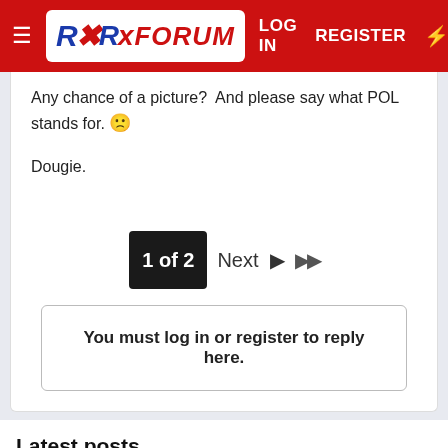RX FORUM — LOG IN | REGISTER
Any chance of a picture?  And please say what POL stands for. 🙁

Dougie.
1 of 2   Next ▶   ▶▶
You must log in or register to reply here.
Latest posts
Water leakage underneath - how to stop it?
NASA'S VOYAGER 1 is 14.6 billion miles from Earth,
Cummins open hybrid passenger...